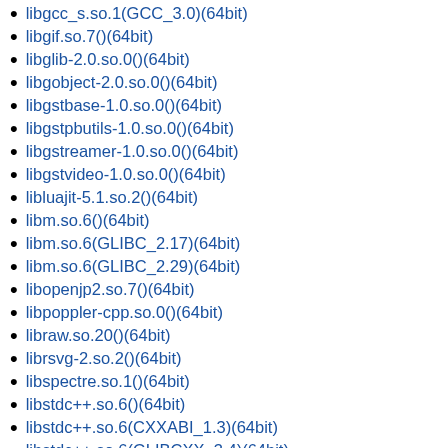libgcc_s.so.1(GCC_3.0)(64bit)
libgif.so.7()(64bit)
libglib-2.0.so.0()(64bit)
libgobject-2.0.so.0()(64bit)
libgstbase-1.0.so.0()(64bit)
libgstpbutils-1.0.so.0()(64bit)
libgstreamer-1.0.so.0()(64bit)
libgstvideo-1.0.so.0()(64bit)
libluajit-5.1.so.2()(64bit)
libm.so.6()(64bit)
libm.so.6(GLIBC_2.17)(64bit)
libm.so.6(GLIBC_2.29)(64bit)
libopenjp2.so.7()(64bit)
libpoppler-cpp.so.0()(64bit)
libraw.so.20()(64bit)
librsvg-2.so.2()(64bit)
libspectre.so.1()(64bit)
libstdc++.so.6()(64bit)
libstdc++.so.6(CXXABI_1.3)(64bit)
libstdc++.so.6(GLIBCXX_3.4)(64bit)
libstdc++.so.6(GLIBCXX_3.4.11)(64bit)
libstdc++.so.6(GLIBCXX_3.4.14)(64bit)
libstdc++.so.6(GLIBCXX_3.4.21)(64bit)
libstdc++.so.6(GLIBCXX_3.4.26)(64bit)
libstdc++.so.6(GLIBCXX_3.4.29)(64bit)